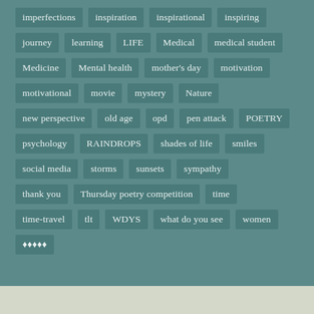imperfections, inspiration, inspirational, inspiring, journey, learning, LIFE, Medical, medical student, Medicine, Mental health, mother's day, motivation, motivational, movie, mystery, Nature, new perspective, old age, opd, pen attack, POETRY, psychology, RAINDROPS, shades of life, smiles, social media, storms, sunsets, sympathy, thank you, Thursday poetry competition, time, time-travel, tlt, WDYS, what do you see, women, ♦♦♦♦♦